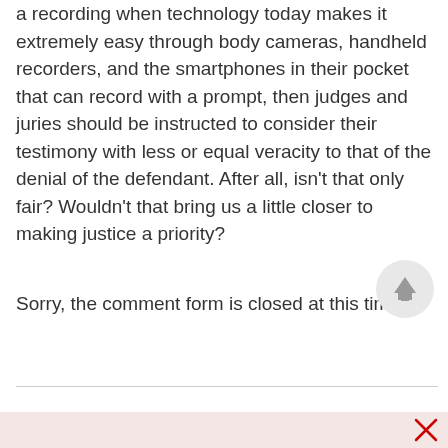a recording when technology today makes it extremely easy through body cameras, handheld recorders, and the smartphones in their pocket that can record with a prompt, then judges and juries should be instructed to consider their testimony with less or equal veracity to that of the denial of the defendant. After all, isn't that only fair? Wouldn't that bring us a little closer to making justice a priority?
Sorry, the comment form is closed at this time.
[Figure (other): Scroll-to-top button: circular gray button with an upward-pointing arrow]